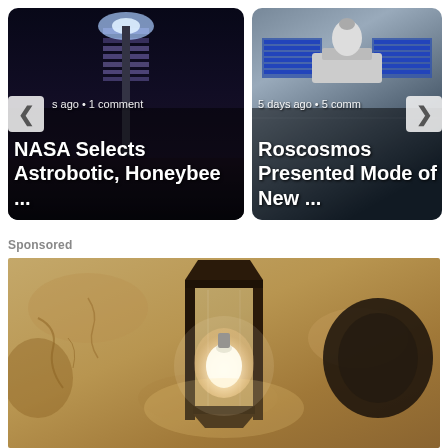[Figure (screenshot): News carousel showing two article cards. Left card: dark night sky with illuminated beam/tower, captioned 's ago • 1 comment', titled 'NASA Selects Astrobotic, Honeybee ...'. Right card: space station model photo, captioned '5 days ago • 5 comm', titled 'Roscosmos Presented Mode of New ...'. Navigation arrows visible on left and right edges.]
Sponsored
[Figure (photo): Close-up photo of an outdoor wall-mounted light fixture (lantern style) with a glowing white bulb, mounted on a textured stucco/plaster wall. The fixture is dark metal/black with glass panels.]